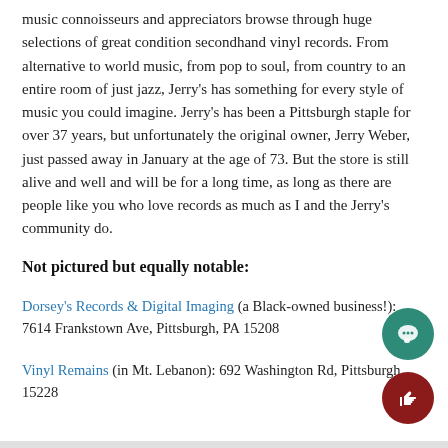music connoisseurs and appreciators browse through huge selections of great condition secondhand vinyl records. From alternative to world music, from pop to soul, from country to an entire room of just jazz, Jerry's has something for every style of music you could imagine. Jerry's has been a Pittsburgh staple for over 37 years, but unfortunately the original owner, Jerry Weber, just passed away in January at the age of 73. But the store is still alive and well and will be for a long time, as long as there are people like you who love records as much as I and the Jerry's community do.
Not pictured but equally notable:
Dorsey's Records & Digital Imaging (a Black-owned business!): 7614 Frankstown Ave, Pittsburgh, PA 15208
Vinyl Remains (in Mt. Lebanon): 692 Washington Rd, Pittsburgh, 15228